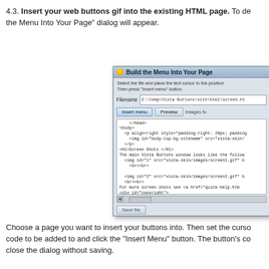4.3. Insert your web buttons gif into the existing HTML page. To do... the Menu Into Your Page" dialog will appear.
[Figure (screenshot): Screenshot of 'Build the Menu Into Your Page' dialog showing filename field with E:\temp\Vista Buttons\site\html\screen.h..., Insert menu and Preview buttons, a code editor area showing HTML code, a horizontal scrollbar, a Save file button, and a Close button.]
Choose a page you want to insert your buttons into. Then set the cursor code to be added to and click the "Insert Menu" button. The button's co... close the dialog without saving.